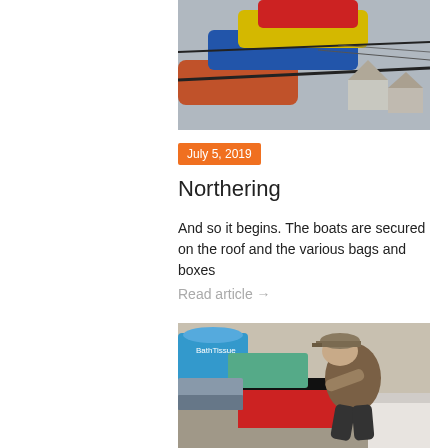[Figure (photo): Colorful kayaks or canoes strapped to the roof of a vehicle, viewed from below against an overcast sky]
July 5, 2019
Northering
And so it begins. The boats are secured on the roof and the various bags and boxes
Read article →
[Figure (photo): A person wearing a cap and brown shirt sits hunched over, looking at something in their hands, surrounded by bags, a cooler, and other supplies]